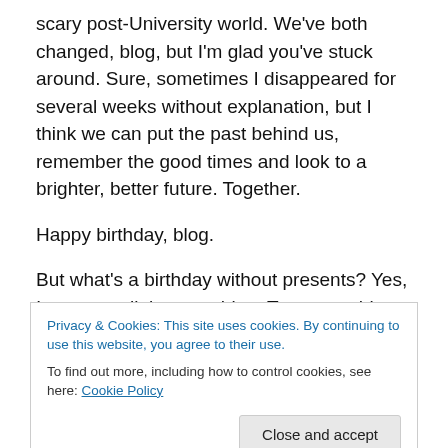scary post-University world. We've both changed, blog, but I'm glad you've stuck around. Sure, sometimes I disappeared for several weeks without explanation, but I think we can put the past behind us, remember the good times and look to a brighter, better future. Together.
Happy birthday, blog.
But what's a birthday without presents? Yes, I got you a little something. Two somethings, in fact. Oh, it's nothing. Hm? Why, yes, I suppose we can share it with everyone.
You're so giving, blog.
Privacy & Cookies: This site uses cookies. By continuing to use this website, you agree to their use.
To find out more, including how to control cookies, see here: Cookie Policy
Close and accept
“one-eyed protagonist”